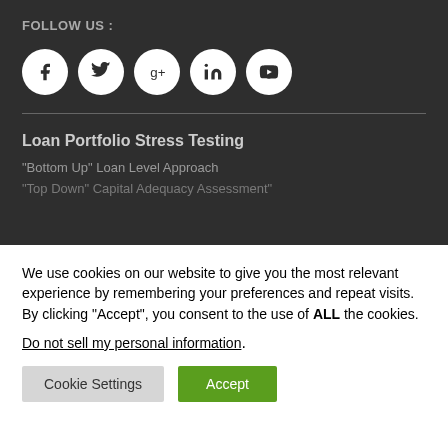FOLLOW US :
[Figure (illustration): Five circular social media icons (Facebook, Twitter, Google+, LinkedIn, YouTube) with white background and dark symbols]
Loan Portfolio Stress Testing
"Bottom Up" Loan Level Approach
"Top Down" Capital Adequacy Assessment"
We use cookies on our website to give you the most relevant experience by remembering your preferences and repeat visits. By clicking “Accept”, you consent to the use of ALL the cookies.
Do not sell my personal information.